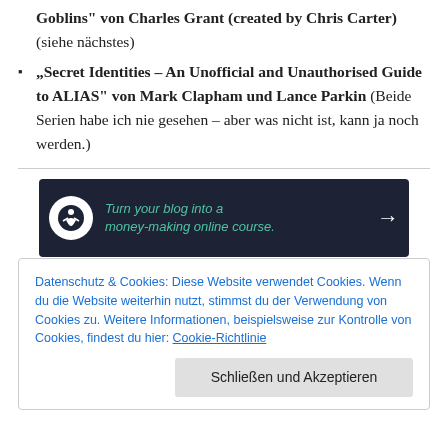Goblins" von Charles Grant (created by Chris Carter) (siehe nächstes)
„Secret Identities – An Unofficial and Unauthorised Guide to ALIAS" von Mark Clapham und Lance Parkin (Beide Serien habe ich nie gesehen – aber was nicht ist, kann ja noch werden.)
[Figure (infographic): Dark banner advertisement: Turn your blog into a money-making online course. Arrow pointing right. Icon of a person meditating.]
DIESE ANZEIGE MELDEN
Datenschutz & Cookies: Diese Website verwendet Cookies. Wenn du die Website weiterhin nutzt, stimmst du der Verwendung von Cookies zu. Weitere Informationen, beispielsweise zur Kontrolle von Cookies, findest du hier: Cookie-Richtlinie
Schließen und Akzeptieren